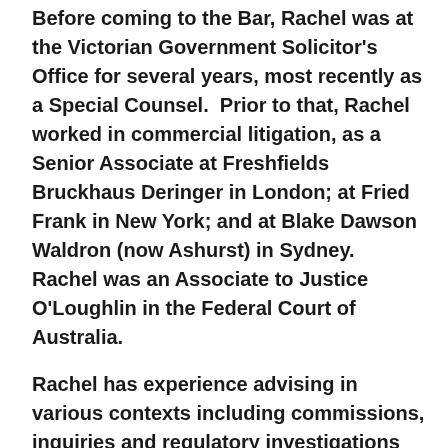Before coming to the Bar, Rachel was at the Victorian Government Solicitor's Office for several years, most recently as a Special Counsel.  Prior to that, Rachel worked in commercial litigation, as a Senior Associate at Freshfields Bruckhaus Deringer in London; at Fried Frank in New York; and at Blake Dawson Waldron (now Ashurst) in Sydney.  Rachel was an Associate to Justice O'Loughlin in the Federal Court of Australia.
Rachel has experience advising in various contexts including commissions, inquiries and regulatory investigations and has advised across a range of issues (eg constitutional law, intergovernmental agreements, statutory interpretation and water resources).
Rachel has been admitted to practice in South Australia, NSW, Victoria, New York and, as a